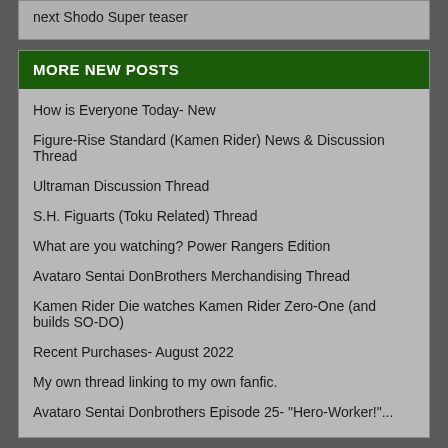next Shodo Super teaser
MORE NEW POSTS
How is Everyone Today- New
Figure-Rise Standard (Kamen Rider) News & Discussion Thread
Ultraman Discussion Thread
S.H. Figuarts (Toku Related) Thread
What are you watching? Power Rangers Edition
Avataro Sentai DonBrothers Merchandising Thread
Kamen Rider Die watches Kamen Rider Zero-One (and builds SO-DO)
Recent Purchases- August 2022
My own thread linking to my own fanfic.
Avataro Sentai Donbrothers Episode 25- "Hero-Worker!"...
CURRENT POLL
How Would You Rate This Episode?
Excellent!